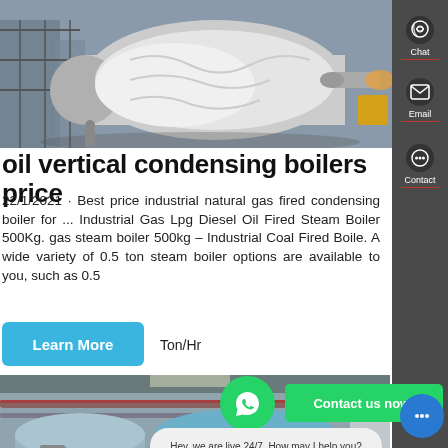[Figure (photo): Industrial gas-fired boiler wrapped in protective covering at a construction/installation site, with scaffolding in background]
oil vertical condensing boilers price
22/1/2021 · Best price industrial natural gas fired condensing boiler for ... Industrial Gas Lpg Diesel Oil Fired Steam Boiler 500Kg. gas steam boiler 500kg – Industrial Coal Fired Boile. A wide variety of 0.5 ton steam boiler options are available to you, such as 0.5 Ton/Hr
[Figure (photo): Large blue industrial steam boilers in a factory/installation setting, showing multiple boiler tanks with piping]
Hey, we are live 24/7. How may I help you?